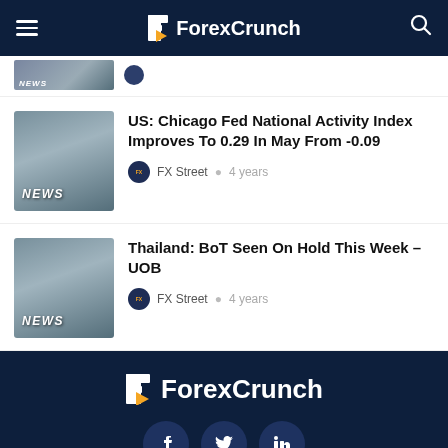ForexCrunch
[Figure (screenshot): Partial news article thumbnail showing person with phone and NEWS label]
US: Chicago Fed National Activity Index Improves To 0.29 In May From -0.09
FX Street • 4 years
[Figure (photo): News thumbnail showing person holding phone with NEWS label]
Thailand: BoT Seen On Hold This Week – UOB
FX Street • 4 years
ForexCrunch — About, News
[Figure (logo): ForexCrunch footer logo with social icons (Facebook, Twitter, LinkedIn) and About/News links]